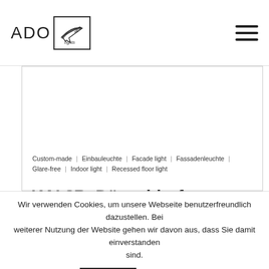[Figure (logo): ADO Lights logo with airplane icon in a box]
[Figure (screenshot): Main content area with white background and light border, mostly empty/blank image area for product KAI 8B Düsseldorf]
Custom-made | Einbauleuchte | Facade light | Fassadenleuchte | Glare-free | Indoor light | Recessed floor light
KAI 8B, Düsseldorf
Wir verwenden Cookies, um unsere Webseite benutzerfreundlich dazustellen. Bei weiterer Nutzung der Website gehen wir davon aus, dass Sie damit einverstanden sind.
OK
Read more